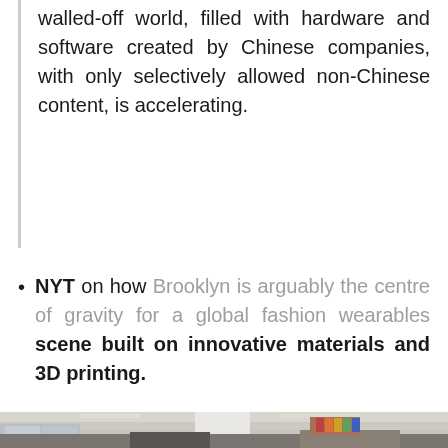walled-off world, filled with hardware and software created by Chinese companies, with only selectively allowed non-Chinese content, is accelerating.
NYT on how Brooklyn is arguably the centre of gravity for a global fashion wearables scene built on innovative materials and 3D printing.
[Figure (photo): Interior of a fashion/design studio workspace with work tables, computers, mannequins, colorful garment racks, and large windows. Modern industrial loft space with exposed ceiling, fluorescent lighting, and a white pillar in the center.]